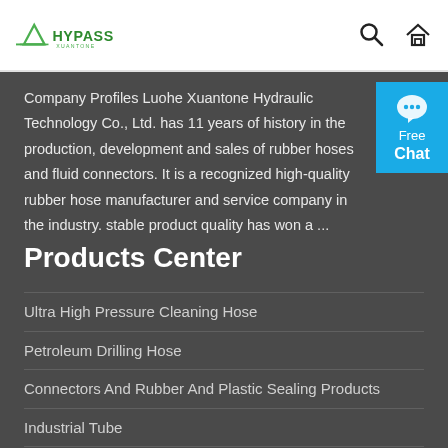HYPASS XUANTONE
Company Profiles Luohe Xuantone Hydraulic Technology Co., Ltd. has 11 years of history in the production, development and sales of rubber hoses and fluid connectors. It is a recognized high-quality rubber hose manufacturer and service company in the industry. stable product quality has won a ...
[Figure (other): Free Chat live support button widget, blue background with chat bubble icon]
Products Center
Ultra High Pressure Cleaning Hose
Petroleum Drilling Hose
Connectors And Rubber And Plastic Sealing Products
Industrial Tube
Hydraulic Hose